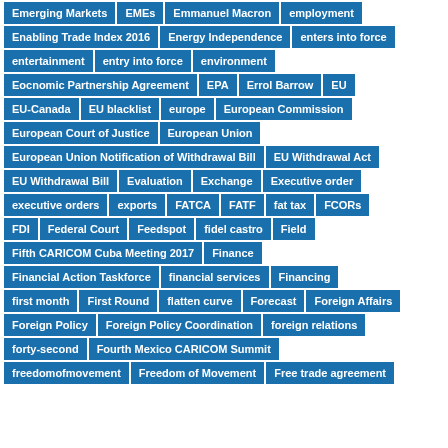Emerging Markets
EMEs
Emmanuel Macron
employment
Enabling Trade Index 2016
Energy Independence
enters into force
entertainment
entry into force
environment
Eocnomic Partnership Agreement
EPA
Errol Barrow
EU
EU-Canada
EU blacklist
europe
European Commission
European Court of Justice
European Union
European Union Notification of Withdrawal Bill
EU Withdrawal Act
EU Withdrawal Bill
Evaluation
Exchange
Executive order
executive orders
exports
FATCA
FATF
fat tax
FCORs
FDI
Federal Court
Feedspot
fidel castro
Field
Fifth CARICOM Cuba Meeting 2017
Finance
Financial Action Taskforce
financial services
Financing
first month
First Round
flatten curve
Forecast
Foreign Affairs
Foreign Policy
Foreign Policy Coordination
foreign relations
forty-second
Fourth Mexico CARICOM Summit
freedomofmovement
Freedom of Movement
Free trade agreement